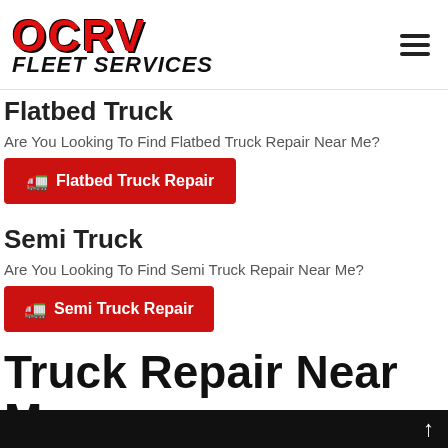OCRV Fleet Services logo and hamburger menu
Flatbed Truck
Are You Looking To Find Flatbed Truck Repair Near Me?
Flatbed Truck Repair
Semi Truck
Are You Looking To Find Semi Truck Repair Near Me?
Semi Truck Repair
Truck Repair Near Me
Commercial Diesel Truck Repair Shop
Your One-Stop Commercial Repair Shop!